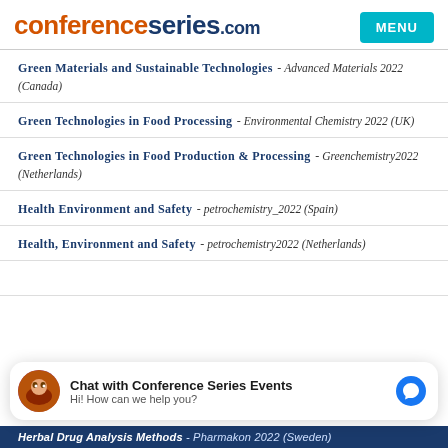conferenceseries.com
Green Materials and Sustainable Technologies - Advanced Materials 2022 (Canada)
Green Technologies in Food Processing - Environmental Chemistry 2022 (UK)
Green Technologies in Food Production & Processing - Greenchemistry2022 (Netherlands)
Health Environment and Safety - petrochemistry_2022 (Spain)
Health, Environment and Safety - petrochemistry2022 (Netherlands)
Chat with Conference Series Events — Hi! How can we help you?
Herbal Drug Analysis Methods - Pharmakon 2022 (Sweden)